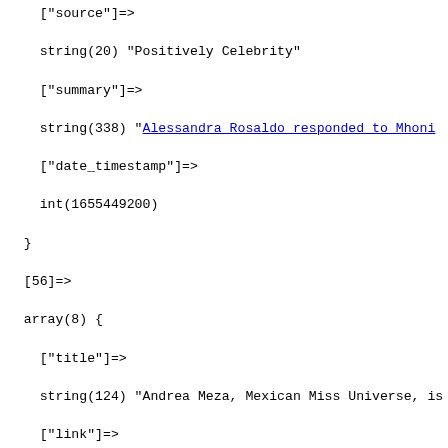PHP var_dump output showing array elements [55], [56], and [57] with fields: source, summary, date_timestamp, title, link, guid, pubdate, description